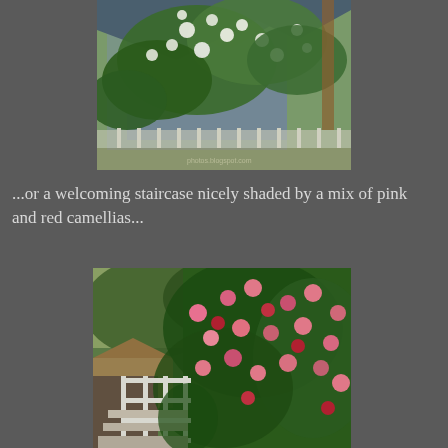[Figure (photo): A flowering tree with white blossoms in front of a blue-grey house exterior, viewed from below looking up through the branches. Partial watermark text visible at bottom right.]
...or a welcoming staircase nicely shaded by a mix of pink and red camellias...
[Figure (photo): A staircase with white railings covered and surrounded by lush green foliage with pink and red camellia flowers climbing up the side.]